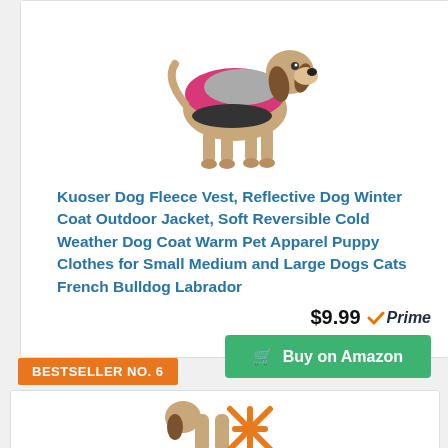[Figure (photo): A beagle dog wearing a pink and grey reversible fleece vest/jacket, standing in profile view on white background]
Kuoser Dog Fleece Vest, Reflective Dog Winter Coat Outdoor Jacket, Soft Reversible Cold Weather Dog Coat Warm Pet Apparel Puppy Clothes for Small Medium and Large Dogs Cats French Bulldog Labrador
$9.99 Prime
Buy on Amazon
BESTSELLER NO. 6
[Figure (photo): Partial view of a dog product image at the bottom of the page, appears to show a dog with an orange/yellow item]